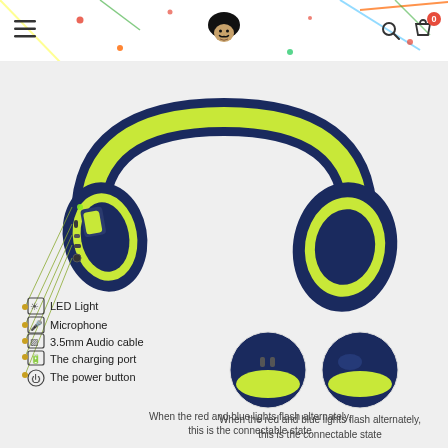[Figure (screenshot): E-commerce website screenshot showing a navy blue and lime green wireless Bluetooth headphone with labeled features: LED Light, Microphone, 3.5mm Audio cable, The charging port, The power button. Two close-up circular detail images show connectable state indicator.]
When the red and blue lights flash alternately, this is the connectable state